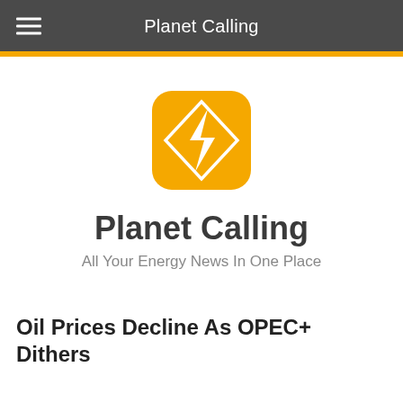Planet Calling
[Figure (logo): Orange rounded-square app icon with a white diamond outline and white lightning bolt symbol inside]
Planet Calling
All Your Energy News In One Place
Oil Prices Decline As OPEC+ Dithers